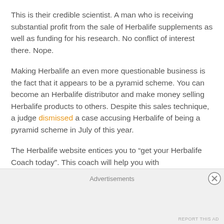This is their credible scientist. A man who is receiving substantial profit from the sale of Herbalife supplements as well as funding for his research. No conflict of interest there. Nope.
Making Herbalife an even more questionable business is the fact that it appears to be a pyramid scheme. You can become an Herbalife distributor and make money selling Herbalife products to others. Despite this sales technique, a judge dismissed a case accusing Herbalife of being a pyramid scheme in July of this year.
The Herbalife website entices you to “get your Herbalife Coach today”. This coach will help you with
Advertisements